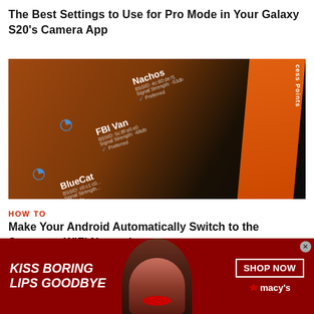The Best Settings to Use for Pro Mode in Your Galaxy S20's Camera App
[Figure (screenshot): Smartphone screen showing a WiFi access points list with networks named Nachos, FBI Van, BlueCat, and others visible, on a dark background with an orange accent bar on the right edge.]
HOW TO
Make Your Android Automatically Switch to the Strongest WiFi Network
[Figure (photo): Advertisement banner with dark red background reading 'KISS BORING LIPS GOODBYE' on the left, a woman's face with red lips in the center, and 'SHOP NOW' button with Macy's star logo on the right.]